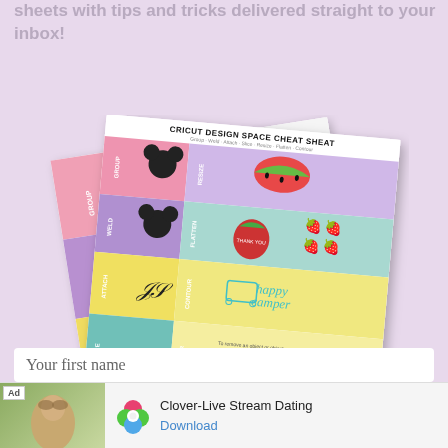sheets with tips and tricks delivered straight to your inbox!
[Figure (illustration): Cricut Design Space Cheat Sheet showing two overlapping colorful reference cards with sections for Group, Weld, Attach, Slice, Resize, Flatten, Contour with Mickey mouse icons, watermelon, strawberry, monogram, camper graphics]
Your first name
[Figure (other): Advertisement banner for Clover-Live Stream Dating app with woman photo, clover leaf logo, app title and Download button]